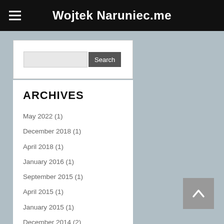Wojtek Naruniec.me
Search
ARCHIVES
May 2022 (1)
December 2018 (1)
April 2018 (1)
January 2016 (1)
September 2015 (1)
April 2015 (1)
January 2015 (1)
December 2014 (2)
November 2014 (2)